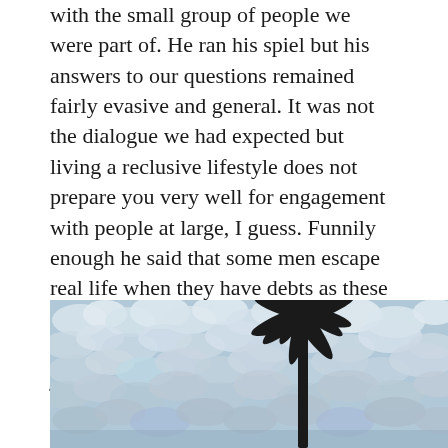with the small group of people we were part of. He ran his spiel but his answers to our questions remained fairly evasive and general. It was not the dialogue we had expected but living a reclusive lifestyle does not prepare you very well for engagement with people at large, I guess. Funnily enough he said that some men escape real life when they have debts as these somehow magically disappear in the same way as wealth does when you join the monastery – you have to give it away when you monkify yourself. All was forgiven though when we tasted the Abbey Ale, which is juicy, fruity, potent and bloody expensive.
[Figure (photo): Outdoor photograph showing a cloudy sky with altocumulus clouds and a dark palm tree silhouette on the right side]